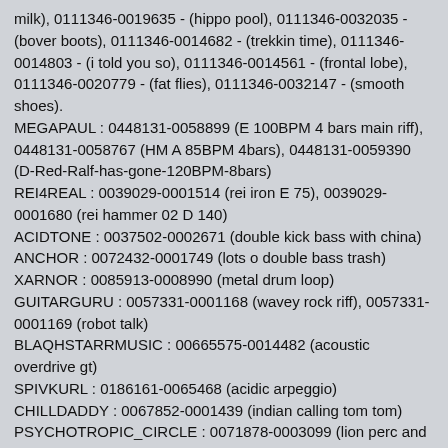milk), 0111346-0019635 - (hippo pool), 0111346-0032035 - (bover boots), 0111346-0014682 - (trekkin time), 0111346-0014803 - (i told you so), 0111346-0014561 - (frontal lobe), 0111346-0020779 - (fat flies), 0111346-0032147 - (smooth shoes).
MEGAPAUL : 0448131-0058899 (E 100BPM 4 bars main riff), 0448131-0058767 (HM A 85BPM 4bars), 0448131-0059390 (D-Red-Ralf-has-gone-120BPM-8bars)
REI4REAL : 0039029-0001514 (rei iron E 75), 0039029-0001680 (rei hammer 02 D 140)
ACIDTONE : 0037502-0002671 (double kick bass with china)
ANCHOR : 0072432-0001749 (lots o double bass trash)
XARNOR : 0085913-0008990 (metal drum loop)
GUITARGURU : 0057331-0001168 (wavey rock riff), 0057331-0001169 (robot talk)
BLAQHSTARRMUSIC : 00665575-0014482 (acoustic overdrive gt)
SPIVKURL : 0186161-0065468 (acidic arpeggio)
CHILLDADDY : 0067852-0001439 (indian calling tom tom)
PSYCHOTROPIC_CIRCLE : 0071878-0003099 (lion perc and orc 01), 0071878-0002818 (salsa groove 01), 0071878-0003153 (fx el 3 114)
SASH : 0020884-0001302 (screaming feedback)
LJSHADOW : 0144345-0014306 (hitter)
DRMISTERSIR : 0208341-0069232 (she loves it)
WADIZZLE5000 : 0711434-0054859 (break break break)
STREETSBEATZ : 0959110-0062623 (ratchet gutta ride)